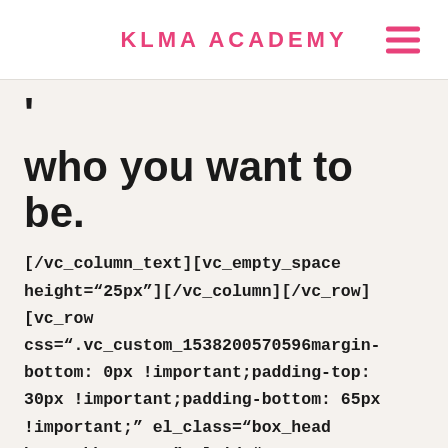KLMA ACADEMY
who you want to be.
[/vc_column_text][vc_empty_space height="25px"][/vc_column][/vc_row][vc_row css=".vc_custom_1538200570596margin-bottom: 0px !important;padding-top: 30px !important;padding-bottom: 65px !important;" el_class="box_head hover_bbx sec-1" el_id="steps-landing"][vc_column width="1/3"]